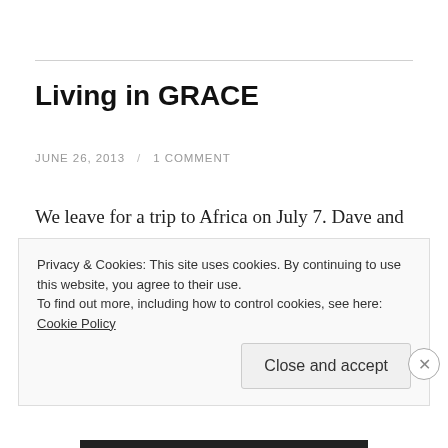Living in GRACE
JUNE 26, 2013 / 1 COMMENT
We leave for a trip to Africa on July 7. Dave and I will go with 12 girls from his soccer team, our oldest child (Emily), one of his assistant coaches, and two soccer moms to Kenya and Uganda.
Privacy & Cookies: This site uses cookies. By continuing to use this website, you agree to their use.
To find out more, including how to control cookies, see here: Cookie Policy
Close and accept